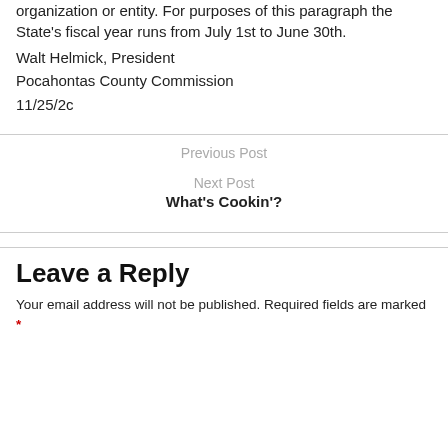organization or entity. For purposes of this paragraph the State's fiscal year runs from July 1st to June 30th.
Walt Helmick, President
Pocahontas County Commission
11/25/2c
Previous Post
Next Post
What's Cookin'?
Leave a Reply
Your email address will not be published. Required fields are marked *